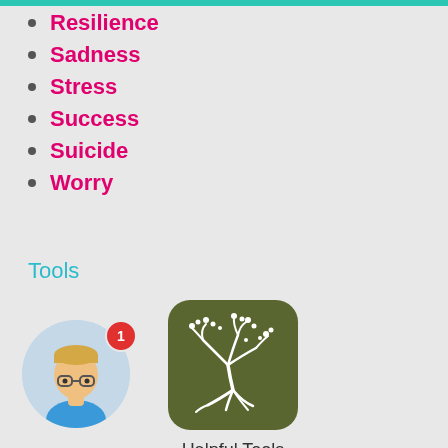Resilience
Sadness
Stress
Success
Suicide
Worry
Tools
[Figure (illustration): Avatar of a person with glasses and blonde hair wearing a blue shirt, with a red notification badge showing number 1]
[Figure (logo): App icon with olive/dark green rounded square background containing a white tree with roots curling into a crescent shape]
Helpful Tools
for spiritual growth